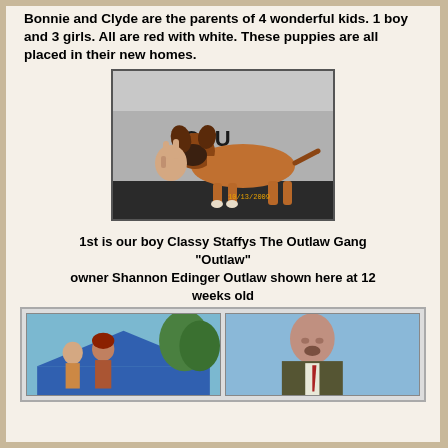Bonnie and Clyde are the parents of 4 wonderful kids. 1 boy and 3 girls. All are red with white. These puppies are all placed in their new homes.
[Figure (photo): A red/tan boxer puppy standing on a dark table, being held/posed by a person in a grey OSU sweatshirt making a peace sign. Date stamp reads 10/13/2009.]
1st is our boy Classy Staffys The Outlaw Gang "Outlaw" owner Shannon Edinger Outlaw shown here at 12 weeks old
[Figure (photo): Two side-by-side photos in a bordered row: left shows two women at an outdoor event with a blue tent/canopy and trees; right shows a bald man in a dark suit against a blue sky background.]